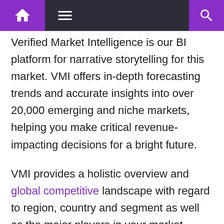Navigation bar with home, menu, and search icons
Verified Market Intelligence is our BI platform for narrative storytelling for this market. VMI offers in-depth forecasting trends and accurate insights into over 20,000 emerging and niche markets, helping you make critical revenue-impacting decisions for a bright future.
VMI provides a holistic overview and global competitive landscape with regard to region, country and segment as well as the major players in your market. Present your market report and findings with a built-in presentation function, saving over 70% of your time and resources for investor arguments, sales and marketing, R&D and product development. VMI